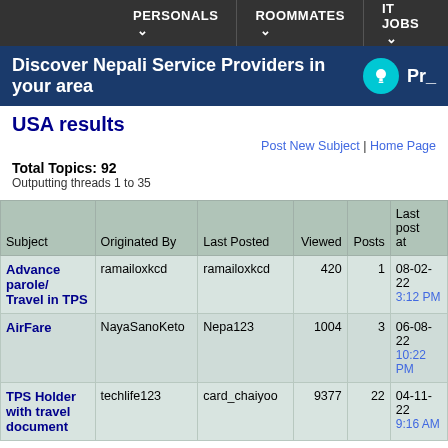PERSONALS  ROOMMATES  IT JOBS
Discover Nepali Service Providers in your area  Pr_
USA results
Post New Subject | Home Page
Total Topics: 92
Outputting threads 1 to 35
| Subject | Originated By | Last Posted | Viewed | Posts | Last post at |
| --- | --- | --- | --- | --- | --- |
| Advance parole/ Travel in TPS | ramailoxkcd | ramailoxkcd | 420 | 1 | 08-02-22 3:12 PM |
| AirFare | NayaSanoKeto | Nepa123 | 1004 | 3 | 06-08-22 10:22 PM |
| TPS Holder with travel document | techlife123 | card_chaiyoo | 9377 | 22 | 04-11-22 9:16 AM |